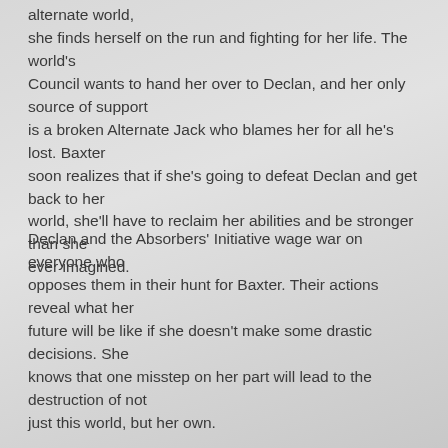alternate world,
she finds herself on the run and fighting for her life. The world's
Council wants to hand her over to Declan, and her only source of support
is a broken Alternate Jack who blames her for all he's lost. Baxter
soon realizes that if she's going to defeat Declan and get back to her
world, she'll have to reclaim her abilities and be stronger than she
ever imagined.
Declan and the Absorbers' Initiative wage war on everyone who
opposes them in their hunt for Baxter. Their actions reveal what her
future will be like if she doesn't make some drastic decisions. She
knows that one misstep on her part will lead to the destruction of not
just this world, but her own.